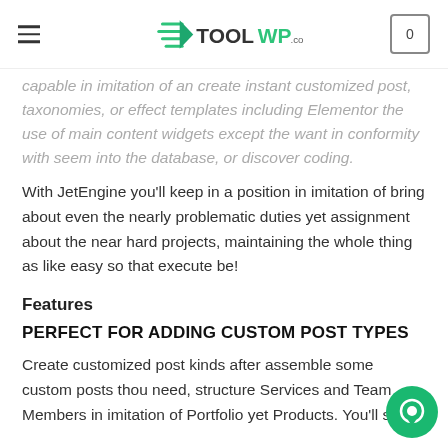TOOLWP.com
capable in imitation of an create instant customized post, taxonomies, or effect templates including Elementor the use of main content widgets except the want in conformity with seem into the database, or discover coding.
With JetEngine you'll keep in a position in imitation of bring about even the nearly problematic duties yet assignment about the near hard projects, maintaining the whole thing as like easy so that execute be!
Features
PERFECT FOR ADDING CUSTOM POST TYPES
Create customized post kinds after assemble some custom posts thou need, structure Services and Team Members in imitation of Portfolio yet Products. You'll stand